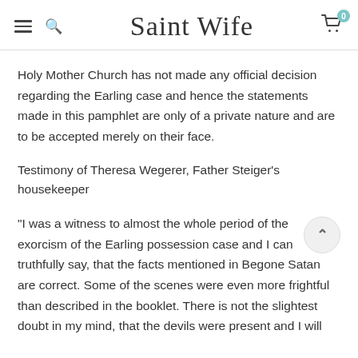Saint Wife
Holy Mother Church has not made any official decision regarding the Earling case and hence the statements made in this pamphlet are only of a private nature and are to be accepted merely on their face.
Testimony of Theresa Wegerer, Father Steiger's housekeeper
"I was a witness to almost the whole period of the exorcism of the Earling possession case and I can truthfully say, that the facts mentioned in Begone Satan are correct. Some of the scenes were even more frightful than described in the booklet. There is not the slightest doubt in my mind, that the devils were present and I will